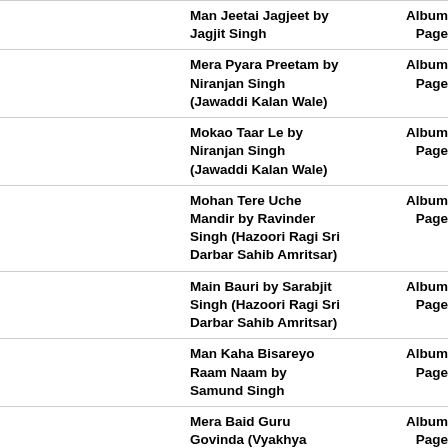Man Jeetai Jagjeet by Jagjit Singh | Album Page
Mera Pyara Preetam by Niranjan Singh (Jawaddi Kalan Wale) | Album Page
Mokao Taar Le by Niranjan Singh (Jawaddi Kalan Wale) | Album Page
Mohan Tere Uche Mandir by Ravinder Singh (Hazoori Ragi Sri Darbar Sahib Amritsar) | Album Page
Main Bauri by Sarabjit Singh (Hazoori Ragi Sri Darbar Sahib Amritsar) | Album Page
Man Kaha Bisareyo Raam Naam by Samund Singh | Album Page
Mera Baid Guru Govinda (Vyakhya Sahit) by Jasbir Singh (Khanne Wale) | Album Page
Mool Mantar by Jaspinder Narula | Album Page
Mere Saajan by Surinder Singh Jodhpuri | Album Page
Mer Karo by Anoop Singh (Una Sahib Wale) | Album Page
Meethey Tere Bol by Gurmeet Singh... | Album Page